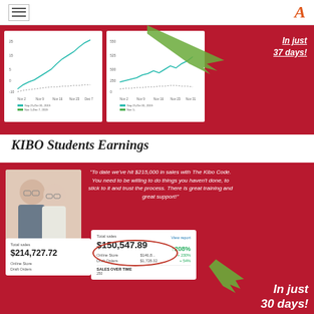Navigation header with hamburger menu and logo
[Figure (line-chart): Two mini line charts on red background showing traffic/sales growth over Nov-Dec period]
In just 37 days!
KIBO Students Earnings
[Figure (infographic): Red testimonial block with photo of Penny & Craig couple, quote about $215,000 in sales with The Kibo Code, two sales dashboard screenshots showing $214,727.72 and $150,547.89 total sales with 208% increase, and 'In just 30 days!' callout]
"To date we've hit $215,000 in sales with The Kibo Code. You need to be willing to do things you haven't done, to stick to it and trust the process. There is great training and great support!"
PENNY & CRAIG
Total sales $214,727.72
Total sales $150,547.89 ↑208%
In just 30 days!